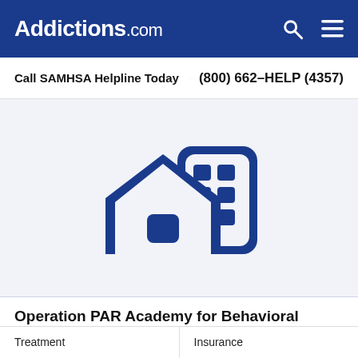Addictions.com
Call SAMHSA Helpline Today  (800) 662-HELP (4357)
[Figure (logo): Icon of a house and a building/office in dark blue, representing a treatment facility]
Operation PAR Academy for Behavioral Change
1900 9th Street South
St. Petersburg, FL 33705
Treatment    Insurance